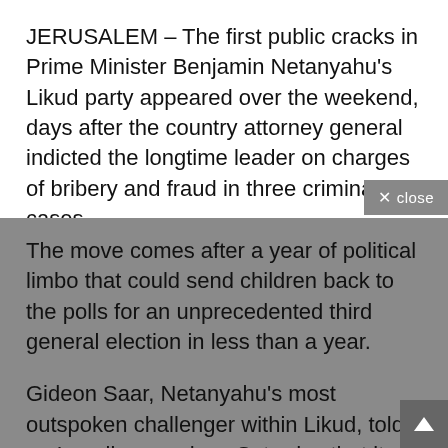JERUSALEM – The first public cracks in Prime Minister Benjamin Netanyahu's Likud party appeared over the weekend, days after the country attorney general indicted the longtime leader on charges of bribery and fraud in three criminal cases .
The move comes after a year of political limbo that could send children back to the polls for an unprecedented third general election in less than a year.
Gideon Saar, Netanyahu's most outspoken challenger within Likud, told an Israeli news show Saturday that it was time for the party to hold primaries to decide its leader and keep it from losing